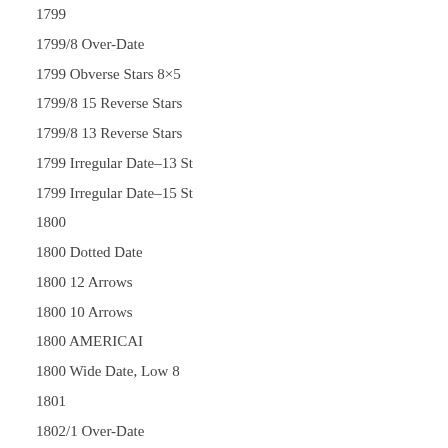1799
1799/8 Over-Date
1799 Obverse Stars 8×5
1799/8 15 Reverse Stars
1799/8 13 Reverse Stars
1799 Irregular Date–13 St
1799 Irregular Date–15 St
1800
1800 Dotted Date
1800 12 Arrows
1800 10 Arrows
1800 AMERICAI
1800 Wide Date, Low 8
1801
1802/1 Over-Date
1802 Narrow Date
1802 Wide Date
1802/1 Narrow Date